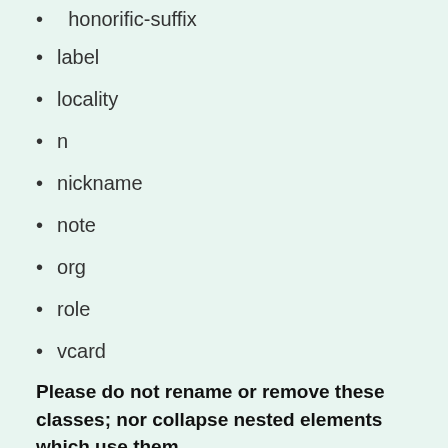honorific-suffix
label
locality
n
nickname
note
org
role
vcard
Please do not rename or remove these classes; nor collapse nested elements which use them.
TemplateData
Këtu janë të dhënat e stampës për këtë stampë që